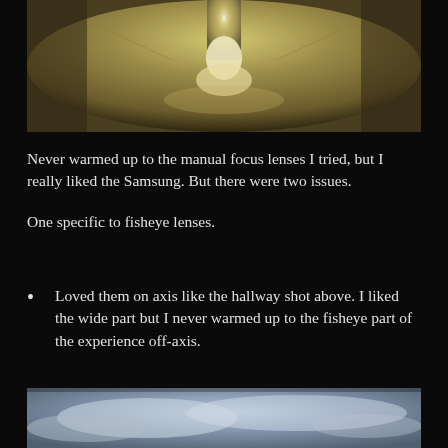[Figure (photo): Fisheye lens photo of a hallway or corridor with a bright light source in the center top, creating a wide curved perspective of a room interior with yellowish-beige tones]
Never warmed up to the manual focus lenses I tried, but I really liked the Samsung. But there were two issues.
One specific to fisheye lenses.
Loved them on axis like the hallway shot above. I liked the wide part but I never warmed up to the fisheye part of the experience off-axis.
[Figure (photo): Fisheye or wide-angle lens photo showing a blue-grey cloudy sky with curved distortion at the edges]